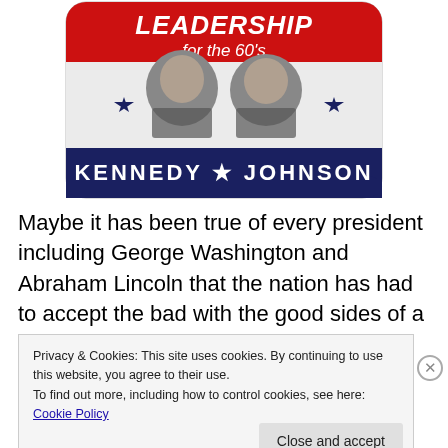[Figure (photo): Kennedy-Johnson 1960 presidential campaign button/badge. Red top banner reading 'LEADERSHIP for the 60's' in bold italic white text. White middle section with black-and-white photos of JFK and LBJ side by side, with blue stars on either side. Navy blue bottom banner reading 'KENNEDY ★ JOHNSON' in bold white capital letters.]
Maybe it has been true of every president including George Washington and Abraham Lincoln that the nation has had to accept the bad with the good sides of a man,
Privacy & Cookies: This site uses cookies. By continuing to use this website, you agree to their use.
To find out more, including how to control cookies, see here: Cookie Policy
Close and accept